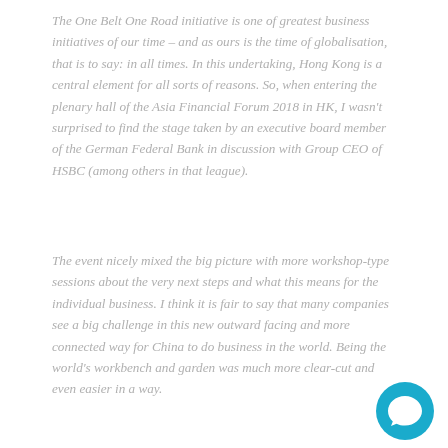The One Belt One Road initiative is one of greatest business initiatives of our time – and as ours is the time of globalisation, that is to say: in all times. In this undertaking, Hong Kong is a central element for all sorts of reasons. So, when entering the plenary hall of the Asia Financial Forum 2018 in HK, I wasn't surprised to find the stage taken by an executive board member of the German Federal Bank in discussion with Group CEO of HSBC (among others in that league).
The event nicely mixed the big picture with more workshop-type sessions about the very next steps and what this means for the individual business. I think it is fair to say that many companies see a big challenge in this new outward facing and more connected way for China to do business in the world. Being the world's workbench and garden was much more clear-cut and even easier in a way.
[Figure (other): Teal/blue circular chat button icon in the bottom-right corner of the page]